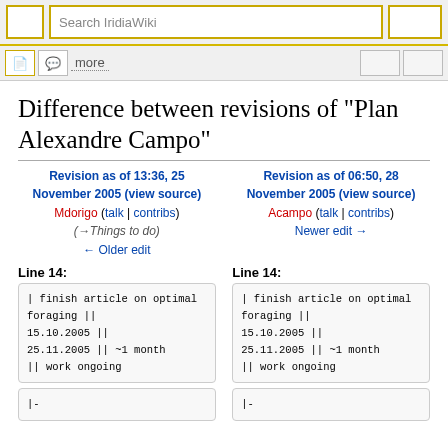Search IridiaWiki
Difference between revisions of "Plan Alexandre Campo"
Revision as of 13:36, 25 November 2005 (view source)
Mdorigo (talk | contribs)
(→Things to do)
← Older edit
Revision as of 06:50, 28 November 2005 (view source)
Acampo (talk | contribs)
Newer edit →
Line 14:
Line 14:
| finish article on optimal foraging || 15.10.2005 || 25.11.2005 || ~1 month || work ongoing
| finish article on optimal foraging || 15.10.2005 || 25.11.2005 || ~1 month || work ongoing
|-
|-